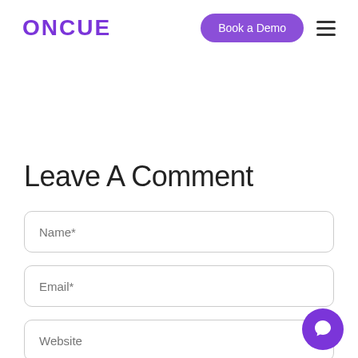ONCUE | Book a Demo | menu
Leave A Comment
Name*
Email*
Website